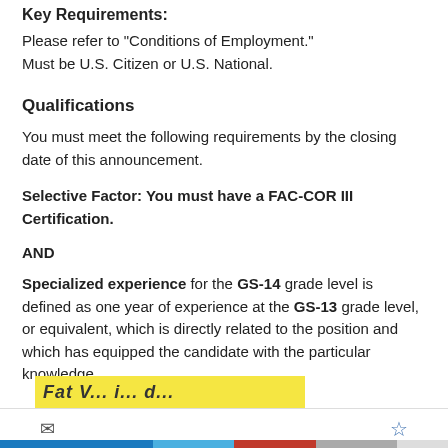Key Requirements:
Please refer to "Conditions of Employment."
Must be U.S. Citizen or U.S. National.
Qualifications
You must meet the following requirements by the closing date of this announcement.
Selective Factor: You must have a FAC-COR III Certification.
AND
Specialized experience for the GS-14 grade level is defined as one year of experience at the GS-13 grade level, or equivalent, which is directly related to the position and which has equipped the candidate with the particular knowledge,